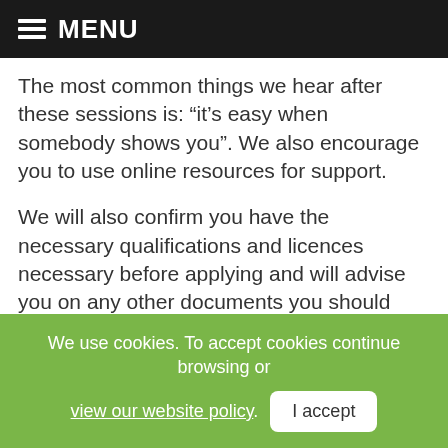MENU
The most common things we hear after these sessions is: “it’s easy when somebody shows you”. We also encourage you to use online resources for support.
We will also confirm you have the necessary qualifications and licences necessary before applying and will advise you on any other documents you should obtain, such as lease agreements for property purchases. Your Business Advisor will always be on hand to help throughout the application process whether it’s
We use cookies. To accept cookies continue browsing or view our website policy. I accept